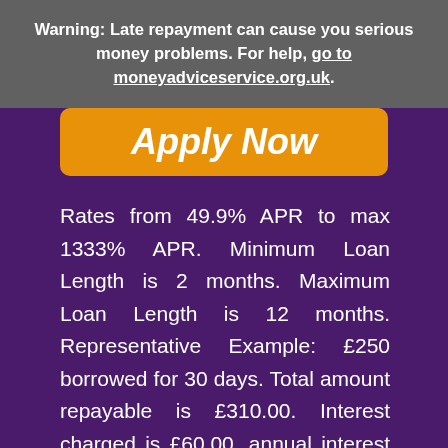Warning: Late repayment can cause you serious money problems. For help, go to moneyadviceservice.org.uk.
Apply Now
Rates from 49.9% APR to max 1333% APR. Minimum Loan Length is 2 months. Maximum Loan Length is 12 months. Representative Example: £250 borrowed for 30 days. Total amount repayable is £310.00. Interest charged is £60.00, annual interest rate of 292%